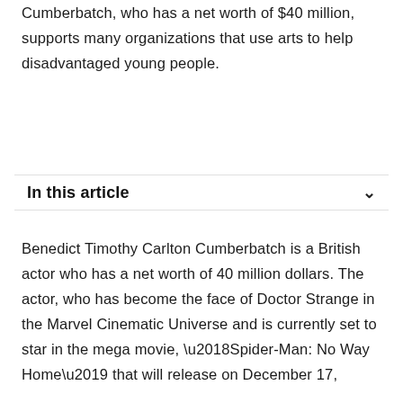Cumberbatch, who has a net worth of $40 million, supports many organizations that use arts to help disadvantaged young people.
In this article
Benedict Timothy Carlton Cumberbatch is a British actor who has a net worth of 40 million dollars. The actor, who has become the face of Doctor Strange in the Marvel Cinematic Universe and is currently set to star in the mega movie, ‘Spider-Man: No Way Home’ that will release on December 17,